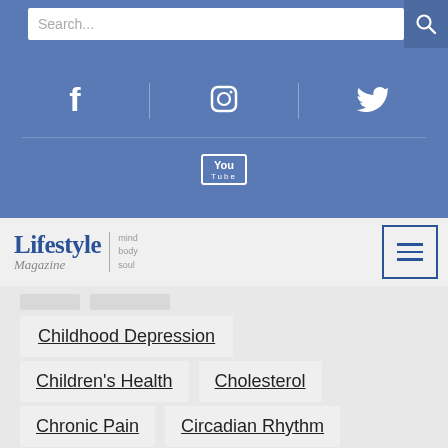[Figure (screenshot): Search bar with blue background and magnifying glass icon]
[Figure (infographic): Social media icons bar: Facebook, Instagram, Twitter, YouTube on blue background]
[Figure (logo): Lifestyle Magazine logo with mind body soul tagline and hamburger menu]
Childhood Depression
Children's Health
Cholesterol
Chronic Pain
Circadian Rhythm
Clean Refrigerator
Cleansing Programs
Cold
Compassion
Complementary Medicine
Conflict